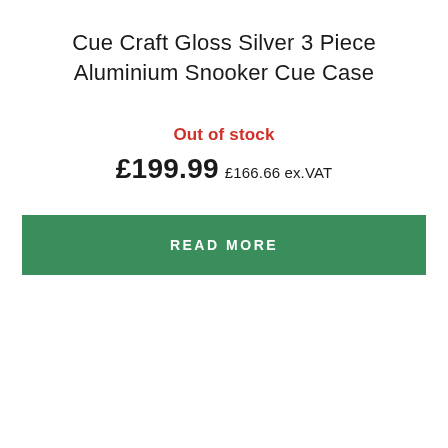Cue Craft Gloss Silver 3 Piece Aluminium Snooker Cue Case
Out of stock
£199.99 £166.66 ex.VAT
READ MORE